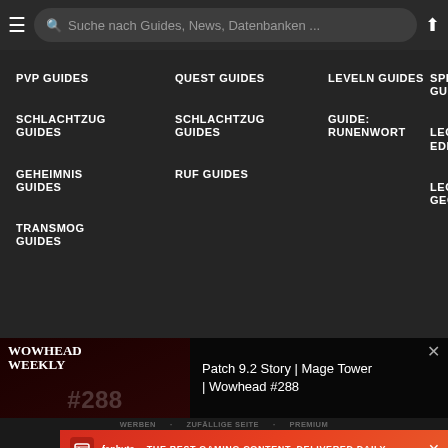≡  Suche nach Guides, News, Datenbanken ...  ↗
PVP GUIDES
SCHLACHTZUG GUIDES
GEHEIMNIS GUIDES
TRANSMOG GUIDES
QUEST GUIDES
SCHLACHTZUG GUIDES
RUF GUIDES
LEVELN GUIDES
GUIDE: RUNENWORT
SPI... GUI...
LEG... EDE...
LEG... GEG...
[Figure (screenshot): Wowhead Weekly #288 video thumbnail with anime-style characters and red cloak on dark background]
Patch 9.2 Story | Mage Tower | Wowhead #288
WERBEN · ZUFÄLLIGE SEITE · PREMIUM
[Figure (advertisement): Fanbyte ad banner: THE BEST GAMING CONTENT, DELIVERED DAILY]